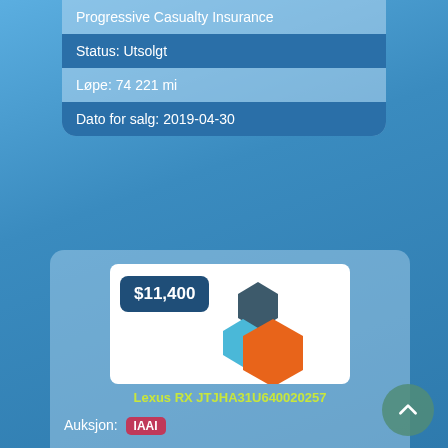Progressive Casualty Insurance
Status: Utsolgt
Løpe: 74 221 mi
Dato for salg: 2019-04-30
[Figure (logo): Vehicle listing image showing $11,400 price badge and three colored hexagons (dark teal, light blue, orange) on white background]
Lexus RX JTJHA31U640020257
Auksjon: IAAI
Partinummer: 0-24973068